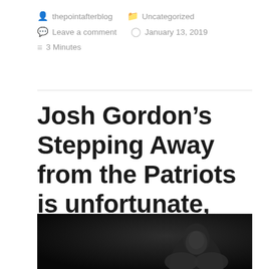thepointafterblog   Uncategorized   Leave a comment   January 13, 2019   3 Minutes
Josh Gordon’s Stepping Away from the Patriots is unfortunate, but he is human
[Figure (photo): Dark studio photo of a football player, cropped at the bottom of the page]